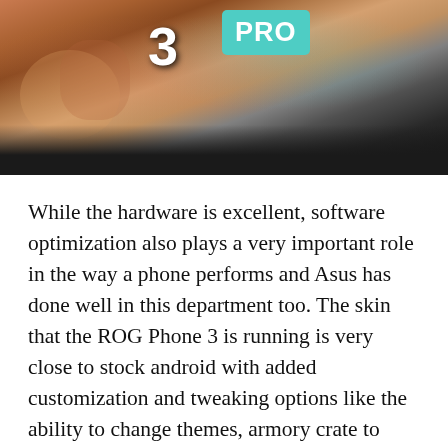[Figure (photo): Photo showing two phones being held up labeled '3' and 'PRO' (ROG Phone 3 vs ROG Phone 3 Pro comparison), with stuffed animal/figure holding them against a brick wall background. Bottom portion has a dark black bar.]
While the hardware is excellent, software optimization also plays a very important role in the way a phone performs and Asus has done well in this department too. The skin that the ROG Phone 3 is running is very close to stock android with added customization and tweaking options like the ability to change themes, armory crate to specify different functions for the RGB lighting and triggers, and helpful tweaks that enhance the user experience. That being said, it's not perfect as we did encounter some slight